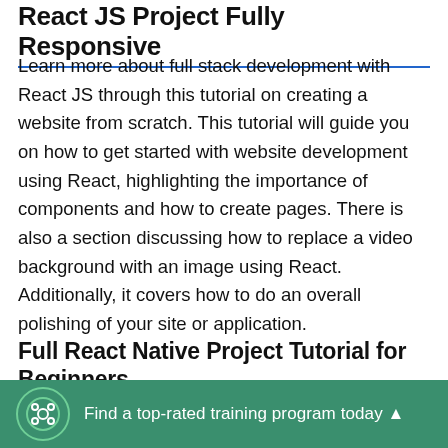React JS Project Fully Responsive
Learn more about full stack development with React JS through this tutorial on creating a website from scratch. This tutorial will guide you on how to get started with website development using React, highlighting the importance of components and how to create pages. There is also a section discussing how to replace a video background with an image using React. Additionally, it covers how to do an overall polishing of your site or application.
Full React Native Project Tutorial for Beginners
Find a top-rated training program today ▲